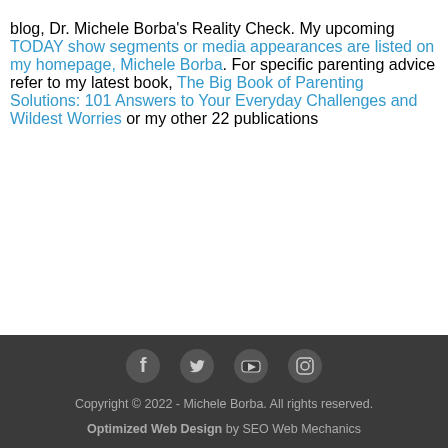blog, Dr. Michele Borba's Reality Check. My upcoming TODAY show segments or media appearances are listed on my homepage, Michele Borba. For specific parenting advice refer to my latest book, The Big Book of Parenting Solutions: 101 Answers to Your Everyday Challenges and Wildest Worries or my other 22 publications
[Figure (other): Social media icons: Facebook, Twitter, YouTube, Instagram]
Copyright © 2022 - Michele Borba. All rights reserved. Optimized Web Design by SEO Web Mechanics